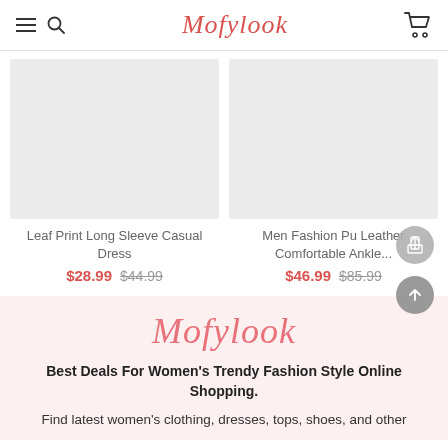Mofylook
[Figure (photo): Product image placeholder for Leaf Print Long Sleeve Casual Dress]
[Figure (photo): Product image placeholder for Men Fashion Pu Leather Comfortable Ankle...]
Leaf Print Long Sleeve Casual Dress
$28.99  $44.99
Men Fashion Pu Leather Comfortable Ankle...
$46.99  $85.99
Mofylook
Best Deals For Women's Trendy Fashion Style Online Shopping.
Find latest women's clothing, dresses, tops, shoes, and other